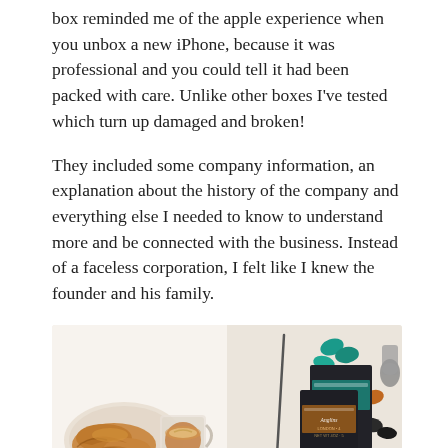box reminded me of the apple experience when you unbox a new iPhone, because it was professional and you could tell it had been packed with care. Unlike other boxes I've tested which turn up damaged and broken!
They included some company information, an explanation about the history of the company and everything else I needed to know to understand more and be connected with the business. Instead of a faceless corporation, I felt like I knew the founder and his family.
[Figure (photo): Flat lay photo showing on the left: a croissant on a plate and a glass cup of espresso/latte on a white marble surface; on the right: a spoon, colorful coffee capsules (teal, orange, black), and dark branded coffee capsule boxes labeled 'Anglins' on a wooden board/marble surface.]